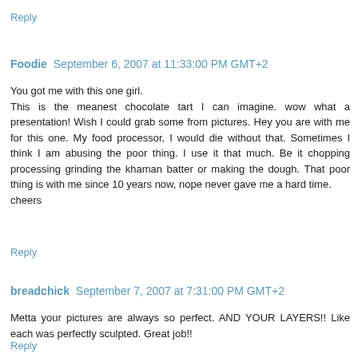Reply
Foodie  September 6, 2007 at 11:33:00 PM GMT+2
You got me with this one girl.
This is the meanest chocolate tart I can imagine. wow what a presentation! Wish I could grab some from pictures. Hey you are with me for this one. My food processor, I would die without that. Sometimes I think I am abusing the poor thing. I use it that much. Be it chopping processing grinding the khaman batter or making the dough. That poor thing is with me since 10 years now, nope never gave me a hard time.
cheers
Reply
breadchick  September 7, 2007 at 7:31:00 PM GMT+2
Metta your pictures are always so perfect. AND YOUR LAYERS!! Like each was perfectly sculpted. Great job!!
Reply